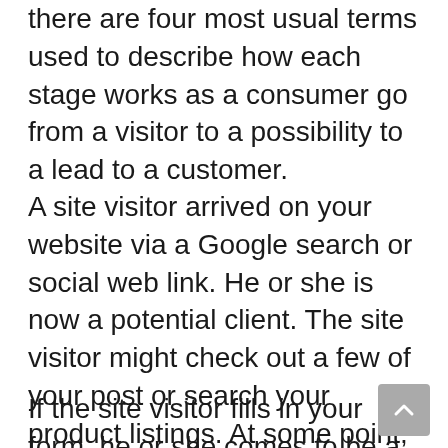there are four most usual terms used to describe how each stage works as a consumer go from a visitor to a possibility to a lead to a customer.
A site visitor arrived on your website via a Google search or social web link. He or she is now a potential client. The site visitor might check out a few of your post or search your product listings. At some point, you use him or her an opportunity to enroll in your email checklist.
If the site visitor fills in your form, he or she comes to be a lead. You can now